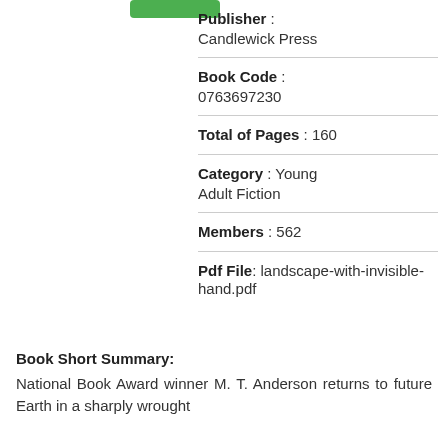[Figure (other): Green button/badge at top left area]
Publisher : Candlewick Press
Book Code : 0763697230
Total of Pages : 160
Category : Young Adult Fiction
Members : 562
Pdf File: landscape-with-invisible-hand.pdf
Book Short Summary:
National Book Award winner M. T. Anderson returns to future Earth in a sharply wrought